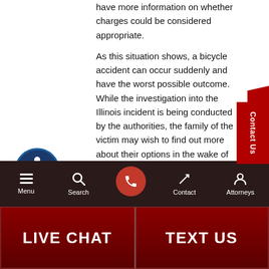have more information on whether charges could be considered appropriate.
As this situation shows, a bicycle accident can occur suddenly and have the worst possible outcome. While the investigation into the Illinois incident is being conducted by the authorities, the family of the victim may wish to find out more about their options in the wake of the fatal event. They may wish to consider a wrongful death claim against the driver deemed at fault, which could allow them to seek compensation for damages resulting from the accident.
[Figure (illustration): Accessibility icon — blue circle with white stick figure in wheelchair pose]
[Figure (illustration): Contact Us red side tab with vertical text]
Menu | Search | [Call button] | Contact | Attorneys
LIVE CHAT | TEXT US